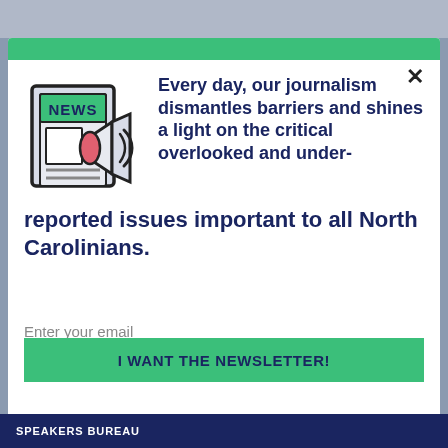[Figure (illustration): Newspaper icon with 'NEWS' header and a megaphone/loudspeaker attached, in cartoon outline style with green, red/pink, and gray colors]
Every day, our journalism dismantles barriers and shines a light on the critical overlooked and under-reported issues important to all North Carolinians.
Enter your email
I WANT THE NEWSLETTER!
SPEAKERS BUREAU